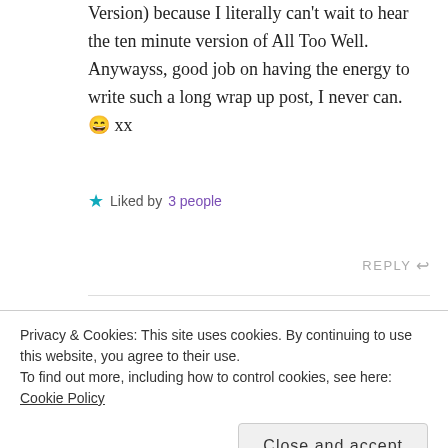Version) because I literally can't wait to hear the ten minute version of All Too Well. Anywayss, good job on having the energy to write such a long wrap up post, I never can. 😊 xx
★ Liked by 3 people
REPLY ↩
Maya Rajesh says:
31ST AUG 2021 AT 2:55 PM
Privacy & Cookies: This site uses cookies. By continuing to use this website, you agree to their use.
To find out more, including how to control cookies, see here: Cookie Policy
Close and accept
similar to the movie you should totally read it!